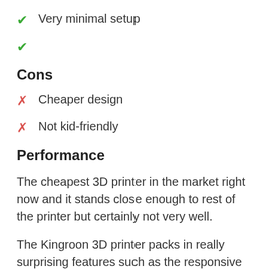✓  Very minimal setup
✓
Cons
✗  Cheaper design
✗  Not kid-friendly
Performance
The cheapest 3D printer in the market right now and it stands close enough to rest of the printer but certainly not very well.
The Kingroon 3D printer packs in really surprising features such as the responsive